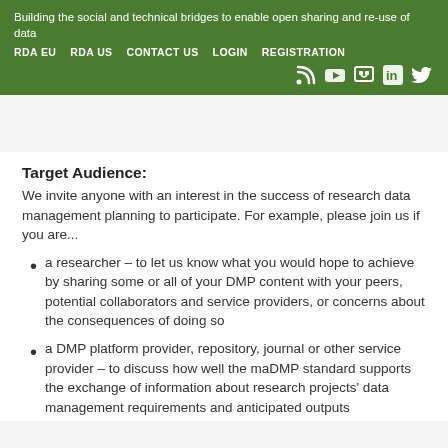Building the social and technical bridges to enable open sharing and re-use of data
RDA EU   RDA US   CONTACT US   LOGIN   REGISTRATION
Target Audience:
We invite anyone with an interest in the success of research data management planning to participate. For example, please join us if you are...
a researcher – to let us know what you would hope to achieve by sharing some or all of your DMP content with your peers, potential collaborators and service providers, or concerns about the consequences of doing so
a DMP platform provider, repository, journal or other service provider – to discuss how well the maDMP standard supports the exchange of information about research projects' data management requirements and anticipated outputs